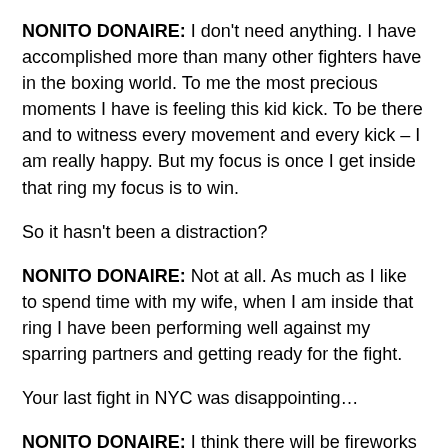NONITO DONAIRE: I don't need anything. I have accomplished more than many other fighters have in the boxing world. To me the most precious moments I have is feeling this kid kick. To be there and to witness every movement and every kick – I am really happy. But my focus is once I get inside that ring my focus is to win.
So it hasn't been a distraction?
NONITO DONAIRE: Not at all. As much as I like to spend time with my wife, when I am inside that ring I have been performing well against my sparring partners and getting ready for the fight.
Your last fight in NYC was disappointing...
NONITO DONAIRE: I think there will be fireworks this time. It may be a chess match. We are both